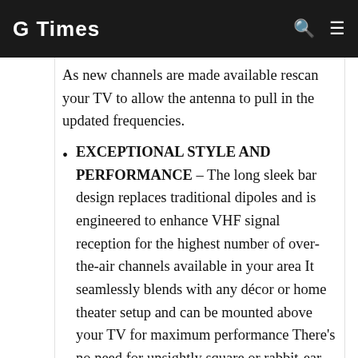G Times
As new channels are made available rescan your TV to allow the antenna to pull in the updated frequencies.
EXCEPTIONAL STYLE AND PERFORMANCE – The long sleek bar design replaces traditional dipoles and is engineered to enhance VHF signal reception for the highest number of over-the-air channels available in your area It seamlessly blends with any décor or home theater setup and can be mounted above your TV for maximum performance There's no need for unsightly square or rabbit-ear antennas that take up space This slim